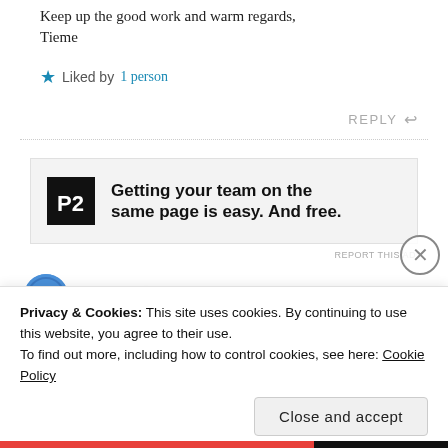Keep up the good work and warm regards,
Tieme
★ Liked by 1 person
REPLY ↩
[Figure (screenshot): P2 advertisement banner: logo with letter P in a square beside bold text 'Getting your team on the same page is easy. And free.']
REPORT THIS AD
[Figure (photo): Globe-like avatar circle, partially visible, next to blurred username text]
Privacy & Cookies: This site uses cookies. By continuing to use this website, you agree to their use.
To find out more, including how to control cookies, see here: Cookie Policy
Close and accept